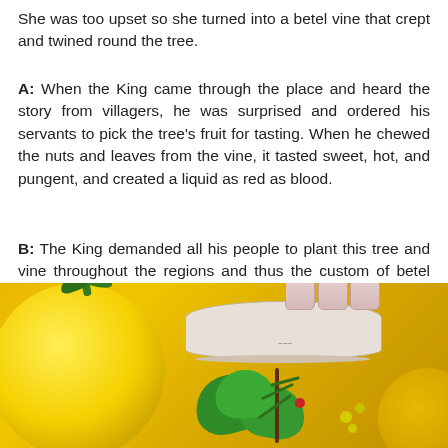She was too upset so she turned into a betel vine that crept and twined round the tree.
A: When the King came through the place and heard the story from villagers, he was surprised and ordered his servants to pick the tree's fruit for tasting. When he chewed the nuts and leaves from the vine, it tasted sweet, hot, and pungent, and created a liquid as red as blood.
B: The King demanded all his people to plant this tree and vine throughout the regions and thus the custom of betel chewing in marriage to wish the spouse's affection.
[Figure (photo): A photograph of betel chewing items on a yellow/golden background: a large yellow citrus fruit on the left, a decorative plate/tray in the center holding three small ceramic cups, green betel leaves arranged in front, pine branches, red berries, and yellow accent fruits on the right.]